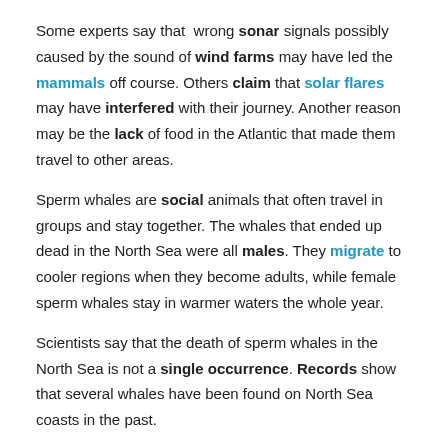Some experts say that wrong sonar signals possibly caused by the sound of wind farms may have led the mammals off course. Others claim that solar flares may have interfered with their journey. Another reason may be the lack of food in the Atlantic that made them travel to other areas.
Sperm whales are social animals that often travel in groups and stay together. The whales that ended up dead in the North Sea were all males. They migrate to cooler regions when they become adults, while female sperm whales stay in warmer waters the whole year.
Scientists say that the death of sperm whales in the North Sea is not a single occurrence. Records show that several whales have been found on North Sea coasts in the past.
Such incidents are likely to happen more often in the future.